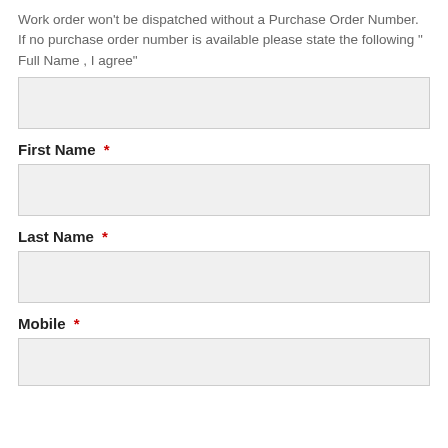Work order won't be dispatched without a Purchase Order Number. If no purchase order number is available please state the following " Full Name , I agree"
(input box)
First Name *
(input box)
Last Name *
(input box)
Mobile *
(input box)